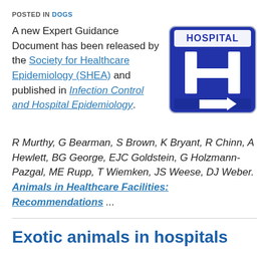POSTED IN DOGS
A new Expert Guidance Document has been released by the Society for Healthcare Epidemiology (SHEA) and published in Infection Control and Hospital Epidemiology.
[Figure (photo): Blue hospital directional sign with large white H and arrow pointing right, with HOSPITAL text at top]
R Murthy, G Bearman, S Brown, K Bryant, R Chinn, A Hewlett, BG George, EJC Goldstein, G Holzmann-Pazgal, ME Rupp, T Wiemken, JS Weese, DJ Weber. Animals in Healthcare Facilities: Recommendations ...
Exotic animals in hospitals